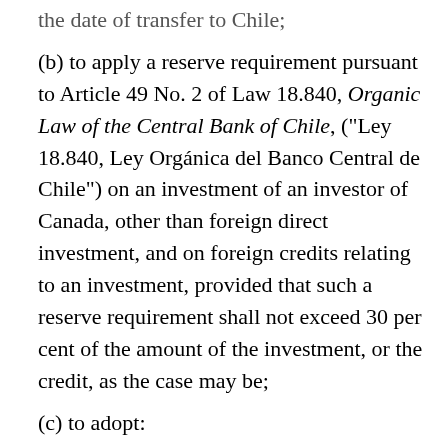the date of transfer to Chile;
(b) to apply a reserve requirement pursuant to Article 49 No. 2 of Law 18.840, Organic Law of the Central Bank of Chile, ("Ley 18.840, Ley Orgánica del Banco Central de Chile") on an investment of an investor of Canada, other than foreign direct investment, and on foreign credits relating to an investment, provided that such a reserve requirement shall not exceed 30 per cent of the amount of the investment, or the credit, as the case may be;
(c) to adopt: